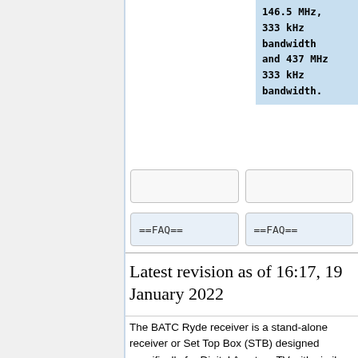146.5 MHz, 333 kHz bandwidth and 437 MHz 333 kHz bandwidth.
==FAQ==
==FAQ==
Latest revision as of 16:17, 19 January 2022
The BATC Ryde receiver is a stand-alone receiver or Set Top Box (STB) designed specifically for Digital Amateur TV with similar functionality to a consumer STB.
It is controlled by an IR remote and has a "point and shoot" interface - simply